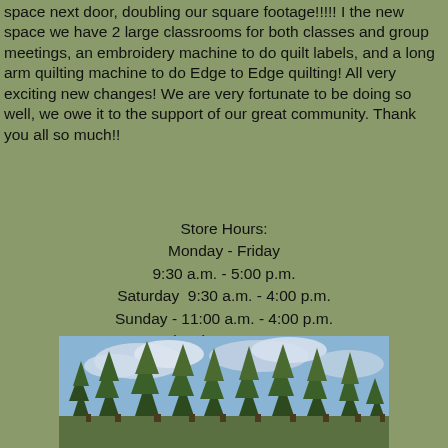space next door, doubling our square footage!!!!! I the new space we have 2 large classrooms for both classes and group meetings, an embroidery machine to do quilt labels, and a long arm quilting machine to do Edge to Edge quilting! All very exciting new changes! We are very fortunate to be doing so well, we owe it to the support of our great community. Thank you all so much!!
Store Hours:
Monday - Friday
9:30 a.m. - 5:00 p.m.
Saturday  9:30 a.m. - 4:00 p.m.
Sunday - 11:00 a.m. - 4:00 p.m.
(530) 622-9990
hsquilters@gmail.com
[Figure (photo): Photo of tall pine trees against a partly cloudy blue sky, in a natural outdoor setting]